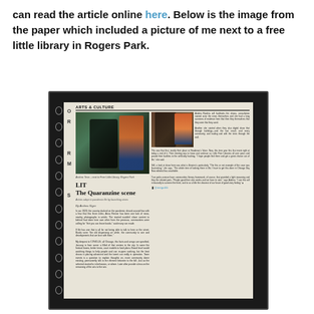can read the article online here. Below is the image from the paper which included a picture of me next to a free little library in Rogers Park.
[Figure (photo): A photograph of a newspaper page open to an Arts & Culture section. The article is titled 'The Quaranzine scene' and features a photo of a person next to a Free Little Library in Rogers Park, Chicago. The newspaper appears to be a Chicago publication. The article discusses how artists adapted during the pandemic by launching zines. The page is shown against a dark background with spiral notebook rings visible on the left side.]